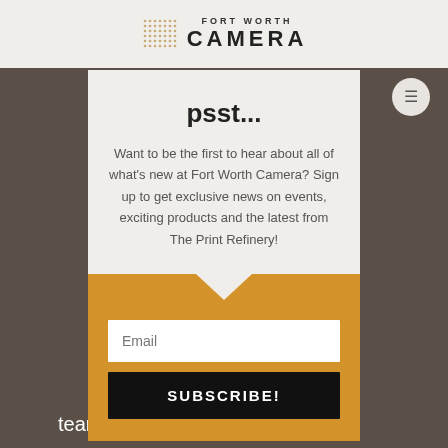[Figure (logo): Fort Worth Camera logo with dot grid and text]
psst...
Want to be the first to hear about all of what's new at Fort Worth Camera? Sign up to get exclusive news on events, exciting products and the latest from The Print Refinery!
Email
SUBSCRIBE!
team members to share their